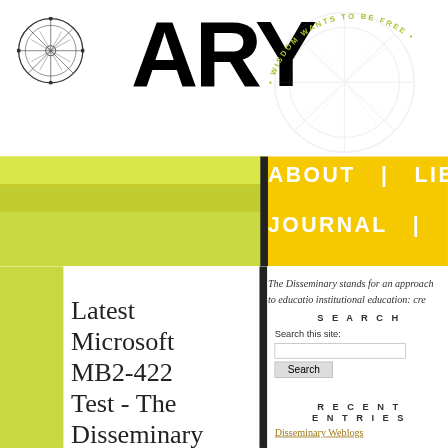[Figure (logo): Circular wheel/compass logo for The Disseminary]
ARY
WISDOM WANTS TO BE FREE
ABOUT | LIBRARY | JOURNAL | BLOGS |
The Disseminary stands for an approach to education institutional education: cre... envisions a variety of educa...
Latest Microsoft MB2-422 Test - The Disseminary
Microsoft MB2-422 have seen Microsoft MB2-422 Test this man, especially
SEARCH
Search this site:
RECENT ENTRIES
Disseminary Weblogs